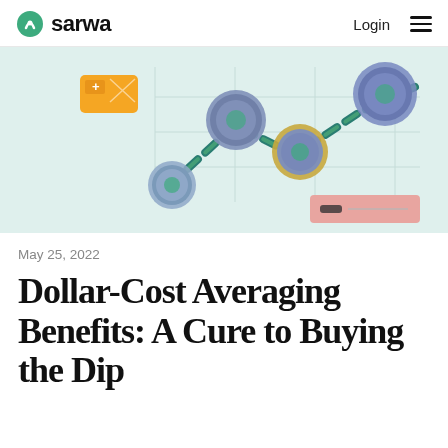sarwa | Login
[Figure (illustration): Illustration showing a financial line chart with a zigzag upward trend line in teal/green, with Sarwa-branded coin icons at various points on the chart. An orange wallet/money icon is in the top left. A pink/red legend bar is in the bottom right. Background is light mint green.]
May 25, 2022
Dollar-Cost Averaging Benefits: A Cure to Buying the Dip